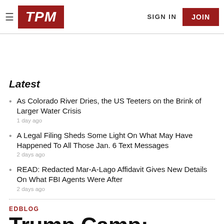TPM | SIGN IN | JOIN
Latest
As Colorado River Dries, the US Teeters on the Brink of Larger Water Crisis
1 day ago
A Legal Filing Sheds Some Light On What May Have Happened To All Those Jan. 6 Text Messages
2 days ago
READ: Redacted Mar-A-Lago Affidavit Gives New Details On What FBI Agents Were After
2 days ago
EDBLOG
Trump Camp: Obama